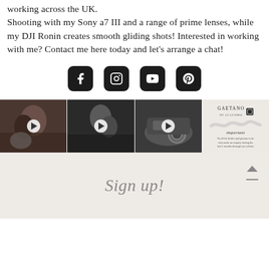working across the UK. Shooting with my Sony a7 III and a range of prime lenses, while my DJI Ronin creates smooth gliding shots! Interested in working with me? Contact me here today and let's arrange a chat!
[Figure (infographic): Four social media icon buttons: Facebook, Instagram, YouTube, Pinterest — dark rounded square icons on white background]
[Figure (photo): Row of four social media video/image thumbnails: three wedding photo/video thumbnails with play buttons (couples kissing/embracing), and one Gaetano Di Giacomo promotional card with wave design and 'important' text]
Sign up!
[Figure (infographic): Up arrow icon with horizontal line below it, positioned at bottom right of footer section]